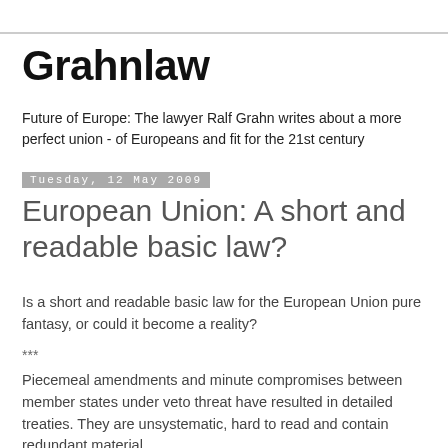Grahnlaw
Future of Europe: The lawyer Ralf Grahn writes about a more perfect union - of Europeans and fit for the 21st century
Tuesday, 12 May 2009
European Union: A short and readable basic law?
Is a short and readable basic law for the European Union pure fantasy, or could it become a reality?
***
Piecemeal amendments and minute compromises between member states under veto threat have resulted in detailed treaties. They are unsystematic, hard to read and contain redundant material.